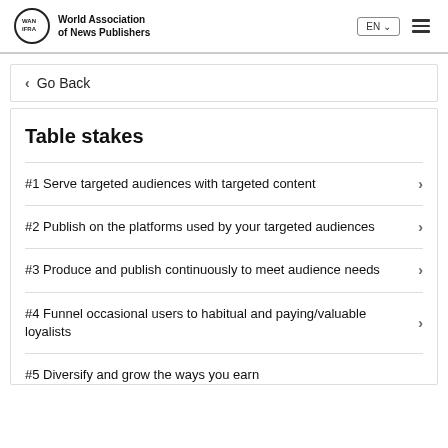World Association of News Publishers
Go Back
Table stakes
#1 Serve targeted audiences with targeted content
#2 Publish on the platforms used by your targeted audiences
#3 Produce and publish continuously to meet audience needs
#4 Funnel occasional users to habitual and paying/valuable loyalists
#5 Diversify and grow the ways you earn